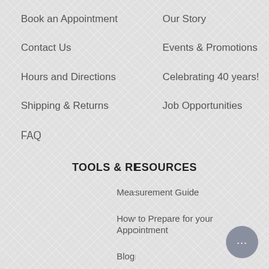Book an Appointment
Contact Us
Hours and Directions
Shipping & Returns
FAQ
Our Story
Events & Promotions
Celebrating 40 years!
Job Opportunities
TOOLS & RESOURCES
Measurement Guide
How to Prepare for your Appointment
Blog
Real Weddings
Submit a Wedding
[Figure (other): Chat bubble icon with ellipsis (...) indicating a live chat interface]